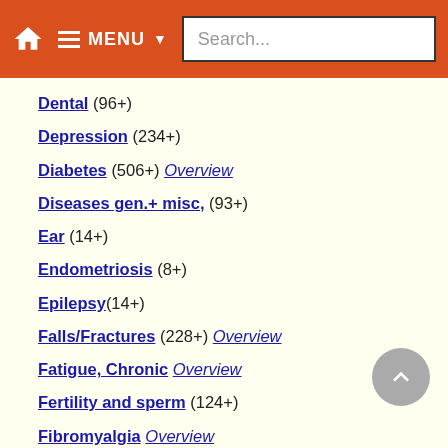MENU Search...
Dental (96+)
Depression (234+)
Diabetes (506+) Overview
Diseases gen.+ misc, (93+)
Ear (14+)
Endometriosis (8+)
Epilepsy(14+)
Falls/Fractures (228+) Overview
Fatigue, Chronic Overview
Fertility and sperm (124+)
Fibromyalgia Overview
Fractures Overview
Fraility (16+)